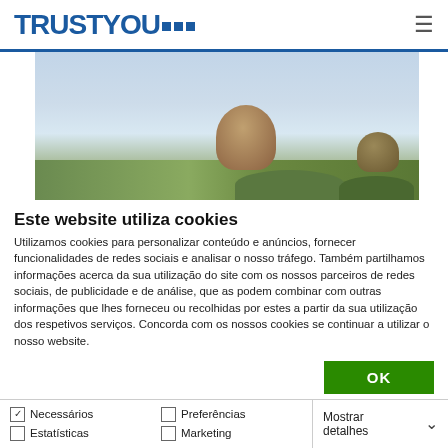[Figure (logo): TrustYou logo with blue bold text and three blue square dots]
[Figure (photo): Aerial landscape photo showing Sugarloaf Mountain in Rio de Janeiro with cloudy sky]
Este website utiliza cookies
Utilizamos cookies para personalizar conteúdo e anúncios, fornecer funcionalidades de redes sociais e analisar o nosso tráfego. Também partilhamos informações acerca da sua utilização do site com os nossos parceiros de redes sociais, de publicidade e de análise, que as podem combinar com outras informações que lhes forneceu ou recolhidas por estes a partir da sua utilização dos respetivos serviços. Concorda com os nossos cookies se continuar a utilizar o nosso website.
OK
Necessários | Preferências | Estatísticas | Marketing | Mostrar detalhes